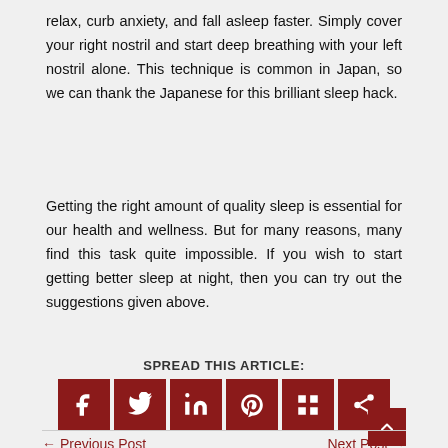relax, curb anxiety, and fall asleep faster. Simply cover your right nostril and start deep breathing with your left nostril alone. This technique is common in Japan, so we can thank the Japanese for this brilliant sleep hack.
Getting the right amount of quality sleep is essential for our health and wellness. But for many reasons, many find this task quite impossible. If you wish to start getting better sleep at night, then you can try out the suggestions given above.
SPREAD THIS ARTICLE:
[Figure (infographic): Six social media share icons (Facebook, Twitter, LinkedIn, Pinterest, Mix, Share) in dark red square buttons]
← Previous Post    Next Post →